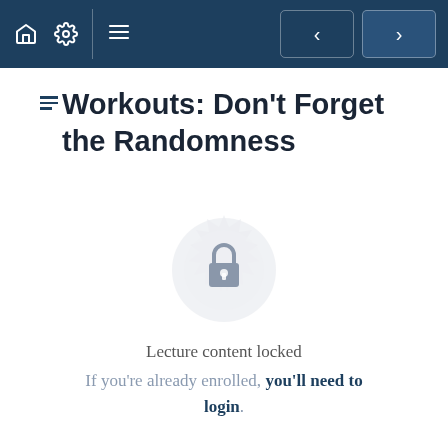Navigation bar with home, settings, menu icons and back/forward buttons
Workouts: Don't Forget the Randomness
[Figure (illustration): A lock icon centered within a decorative circular mandala/gear pattern in light gray, indicating locked content]
Lecture content locked
If you're already enrolled, you'll need to login.